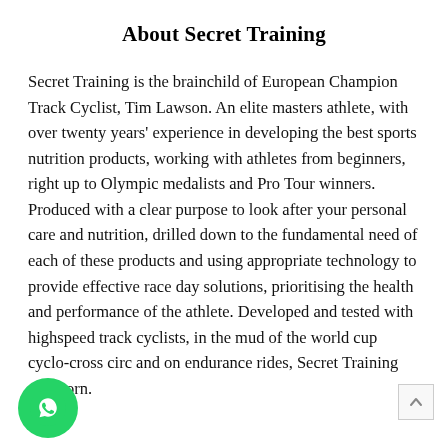About Secret Training
Secret Training is the brainchild of European Champion Track Cyclist, Tim Lawson. An elite masters athlete, with over twenty years' experience in developing the best sports nutrition products, working with athletes from beginners, right up to Olympic medalists and Pro Tour winners. Produced with a clear purpose to look after your personal care and nutrition, drilled down to the fundamental need of each of these products and using appropriate technology to provide effective race day solutions, prioritising the health and performance of the athlete. Developed and tested with highspeed track cyclists, in the mud of the world cup cyclo-cross circuits and on endurance rides, Secret Training was born.
[Figure (logo): WhatsApp chat button (green circle with phone handset icon)]